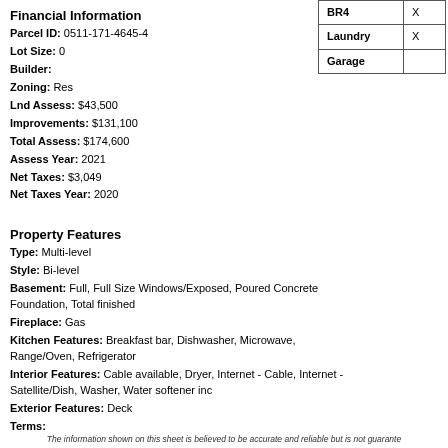Financial Information
Parcel ID: 0511-171-4645-4
Lot Size: 0
Builder:
Zoning: Res
Lnd Assess: $43,500
Improvements: $131,100
Total Assess: $174,600
Assess Year: 2021
Net Taxes: $3,049
Net Taxes Year: 2020
| Room |  |
| --- | --- |
| BR4 | X |
| Laundry | X |
| Garage |  |
Property Features
Type: Multi-level
Style: Bi-level
Basement: Full, Full Size Windows/Exposed, Poured Concrete Foundation, Total finished
Fireplace: Gas
Kitchen Features: Breakfast bar, Dishwasher, Microwave, Range/Oven, Refrigerator
Interior Features: Cable available, Dryer, Internet - Cable, Internet - Satellite/Dish, Washer, Water softener inc
Exterior Features: Deck
Terms:
The information shown on this sheet is believed to be accurate and reliable but is not guarant...